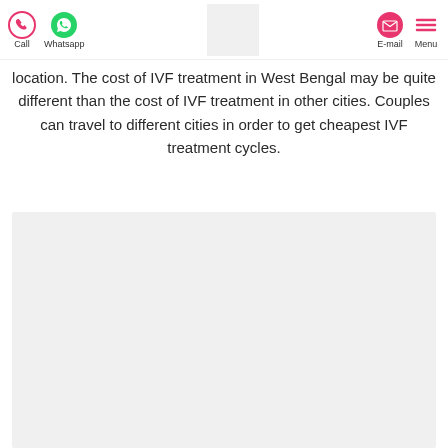Call  Whatsapp  [logo]  E-mail  Menu
location. The cost of IVF treatment in West Bengal may be quite different than the cost of IVF treatment in other cities. Couples can travel to different cities in order to get cheapest IVF treatment cycles.
[Figure (photo): Light grey placeholder image area below the text content]